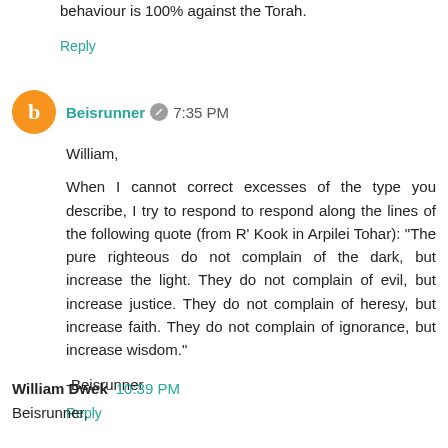behaviour is 100% against the Torah.
Reply
Beisrunner  7:35 PM
William,

When I cannot correct excesses of the type you describe, I try to respond to respond along the lines of the following quote (from R' Kook in Arpilei Tohar): "The pure righteous do not complain of the dark, but increase the light. They do not complain of evil, but increase justice. They do not complain of heresy, but increase faith. They do not complain of ignorance, but increase wisdom."

-Beisrunner
Reply
William Dwek  10:39 PM
Beisrunner,